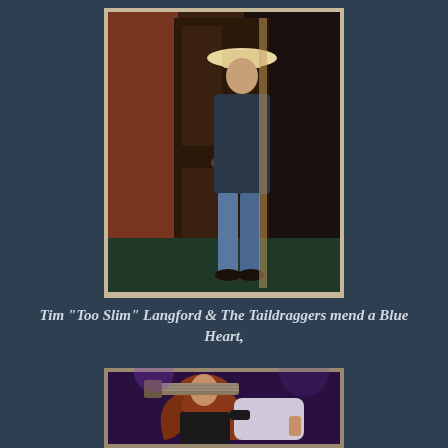[Figure (photo): Man wearing white cowboy hat and dark jacket standing in a doorway, leaning against the door frame. Photo has a border/mat effect.]
Tim “Too Slim” Langford & The Taildraggers mend a Blue Heart,
[Figure (photo): Person with long curly red/auburn hair playing a light-colored electric guitar on stage, looking upward. Stage lighting creates a purple/dark background.]